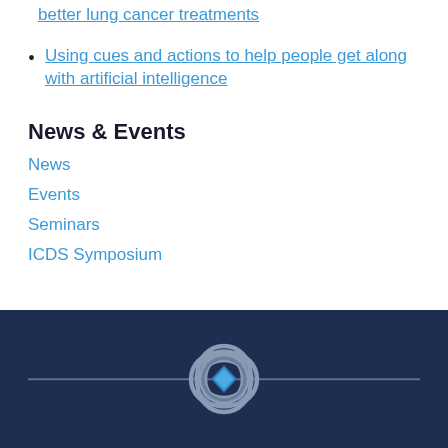better lung cancer treatments
Using cues and actions to help people get along with artificial intelligence
News & Events
News
Events
Seminars
ICDS Symposium
[Figure (logo): ICDS logo — interlocking circular knot design with a blue diamond in the center, on dark navy background with a horizontal line]